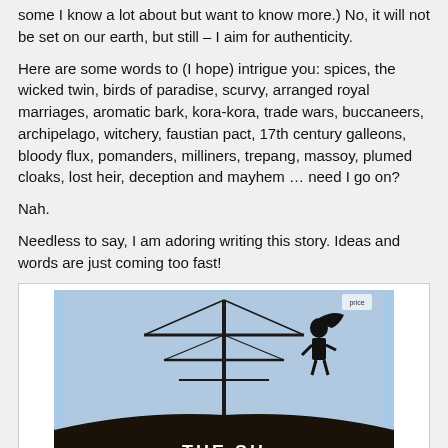some I know a lot about but want to know more.) No, it will not be set on our earth, but still – I aim for authenticity.
Here are some words to (I hope) intrigue you: spices, the wicked twin, birds of paradise, scurvy, arranged royal marriages, aromatic bark, kora-kora, trade wars, buccaneers, archipelago, witchery, faustian pact, 17th century galleons, bloody flux, pomanders, milliners, trepang, massoy, plumed cloaks, lost heir, deception and mayhem … need I go on?
Nah.
Needless to say, I am adoring writing this story. Ideas and words are just coming too fast!
[Figure (photo): A photograph of a book cover showing a tall ship silhouette against a blue sky with clouds, with partial text 'THE SH...' visible at the bottom of the cover.]